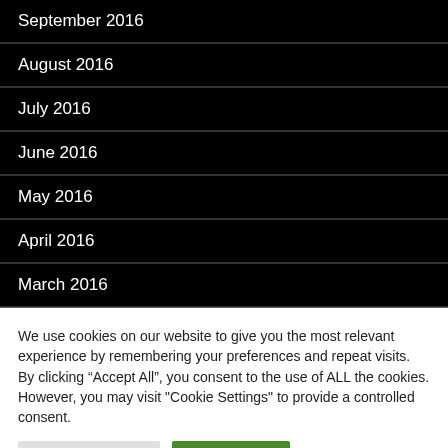September 2016
August 2016
July 2016
June 2016
May 2016
April 2016
March 2016
We use cookies on our website to give you the most relevant experience by remembering your preferences and repeat visits. By clicking “Accept All”, you consent to the use of ALL the cookies. However, you may visit "Cookie Settings" to provide a controlled consent.
Cookie Settings | Accept All